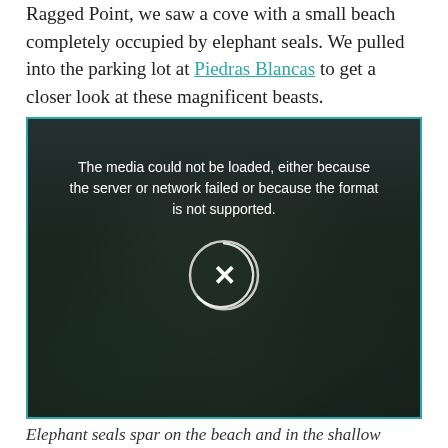Ragged Point, we saw a cove with a small beach completely occupied by elephant seals. We pulled into the parking lot at Piedras Blancas to get a closer look at these magnificent beasts.
[Figure (screenshot): Video player showing a dark scene of elephant seals on a beach, with a media error overlay: 'The media could not be loaded, either because the server or network failed or because the format is not supported.' An X icon in a circle is displayed in the center.]
Elephant seals spar on the beach and in the shallow